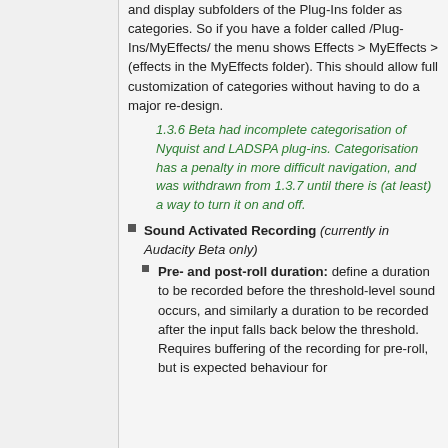and display subfolders of the Plug-Ins folder as categories. So if you have a folder called /Plug-Ins/MyEffects/ the menu shows Effects > MyEffects > (effects in the MyEffects folder). This should allow full customization of categories without having to do a major re-design.
1.3.6 Beta had incomplete categorisation of Nyquist and LADSPA plug-ins. Categorisation has a penalty in more difficult navigation, and was withdrawn from 1.3.7 until there is (at least) a way to turn it on and off.
Sound Activated Recording (currently in Audacity Beta only)
Pre- and post-roll duration: define a duration to be recorded before the threshold-level sound occurs, and similarly a duration to be recorded after the input falls back below the threshold. Requires buffering of the recording for pre-roll, but is expected behaviour for